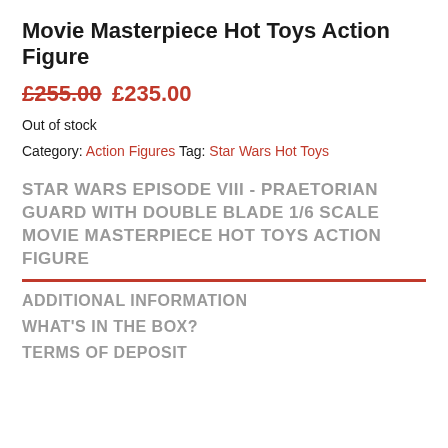Movie Masterpiece Hot Toys Action Figure
£255.00 £235.00
Out of stock
Category: Action Figures Tag: Star Wars Hot Toys
STAR WARS EPISODE VIII - PRAETORIAN GUARD WITH DOUBLE BLADE 1/6 SCALE MOVIE MASTERPIECE HOT TOYS ACTION FIGURE
ADDITIONAL INFORMATION
WHAT'S IN THE BOX?
TERMS OF DEPOSIT